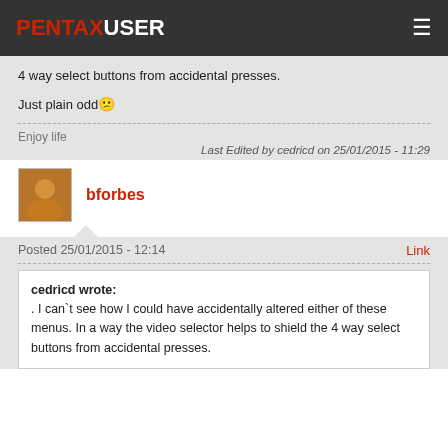PENTAXUSER
4 way select buttons from accidental presses.
Just plain odd 🤔
Enjoy life
Last Edited by cedricd on 25/01/2015 - 11:29
bforbes
Posted 25/01/2015 - 12:14
Link
cedricd wrote:
. I can`t see how I could have accidentally altered either of these menus. In a way the video selector helps to shield the 4 way select buttons from accidental presses.